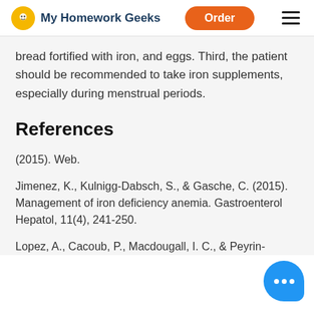My Homework Geeks | Order
bread fortified with iron, and eggs. Third, the patient should be recommended to take iron supplements, especially during menstrual periods.
References
(2015). Web.
Jimenez, K., Kulnigg-Dabsch, S., & Gasche, C. (2015). Management of iron deficiency anemia. Gastroenterol Hepatol, 11(4), 241-250.
Lopez, A., Cacoub, P., Macdougall, I. C., & Peyrin-